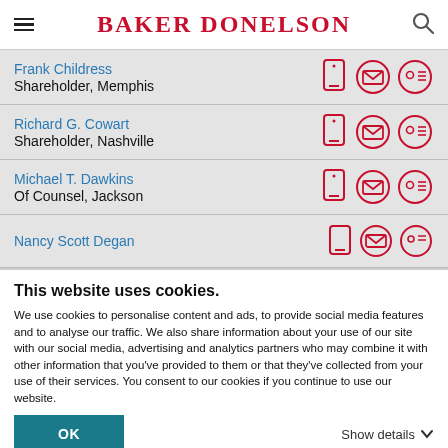BAKER DONELSON
Frank Childress — Shareholder, Memphis
Richard G. Cowart — Shareholder, Nashville
Michael T. Dawkins — Of Counsel, Jackson
Nancy Scott Degan
This website uses cookies.
We use cookies to personalise content and ads, to provide social media features and to analyse our traffic. We also share information about your use of our site with our social media, advertising and analytics partners who may combine it with other information that you've provided to them or that they've collected from your use of their services. You consent to our cookies if you continue to use our website.
OK | Show details